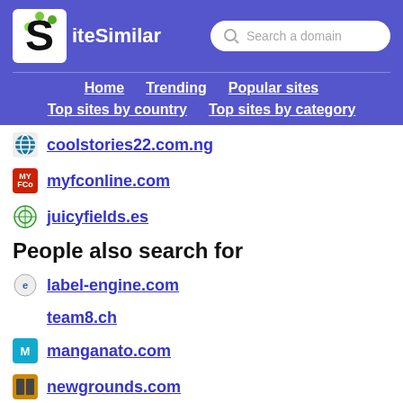[Figure (logo): SiteSimilar logo with large S and dots]
Search a domain
Home  Trending  Popular sites  Top sites by country  Top sites by category
coolstories22.com.ng
myfconline.com
juicyfields.es
People also search for
label-engine.com
team8.ch
manganato.com
newgrounds.com
iplwin.cc